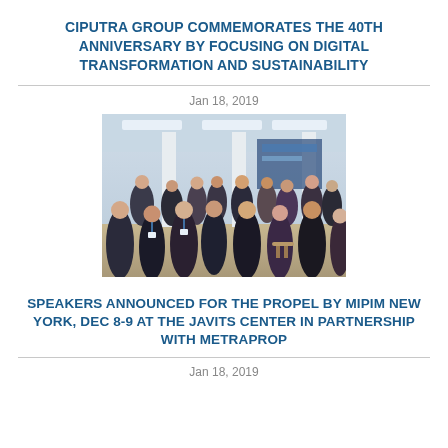CIPUTRA GROUP COMMEMORATES THE 40TH ANNIVERSARY BY FOCUSING ON DIGITAL TRANSFORMATION AND SUSTAINABILITY
Jan 18, 2019
[Figure (photo): A crowded indoor event space with many people networking; white columns, bright lighting, and exhibition stands in the background.]
SPEAKERS ANNOUNCED FOR THE PROPEL BY MIPIM NEW YORK, DEC 8-9 AT THE JAVITS CENTER IN PARTNERSHIP WITH METRAPROP
Jan 18, 2019